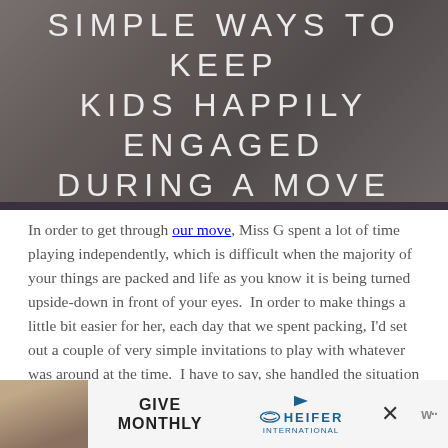[Figure (photo): Hero image of a room/moving scene with dark overlay, featuring large white uppercase text: SIMPLE WAYS TO KEEP KIDS HAPPILY ENGAGED DURING A MOVE]
SIMPLE WAYS TO KEEP KIDS HAPPILY ENGAGED DURING A MOVE
In order to get through our move, Miss G spent a lot of time playing independently, which is difficult when the majority of your things are packed and life as you know it is being turned upside-down in front of your eyes.  In order to make things a little bit easier for her, each day that we spent packing, I'd set out a couple of very simple invitations to play with whatever was around at the time.  I have to say, she handled the situation very well and even created a few fun activities of her own.  Here's some of
[Figure (advertisement): Ad banner at bottom: photo of child, GIVE MONTHLY text, Heifer International logo, close X button, WP logo]